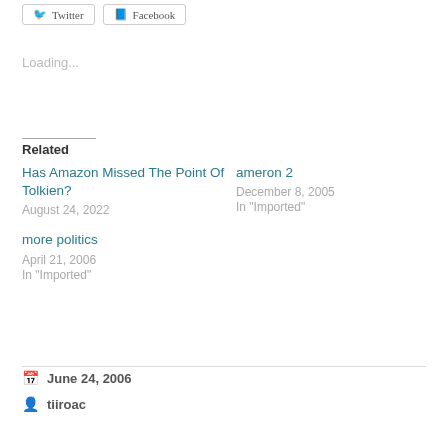[Figure (other): Twitter and Facebook share buttons at top of page]
Loading...
Related
Has Amazon Missed The Point Of Tolkien?
August 24, 2022
ameron 2
December 8, 2005
In "Imported"
more politics
April 21, 2006
In "Imported"
June 24, 2006
tiiroac